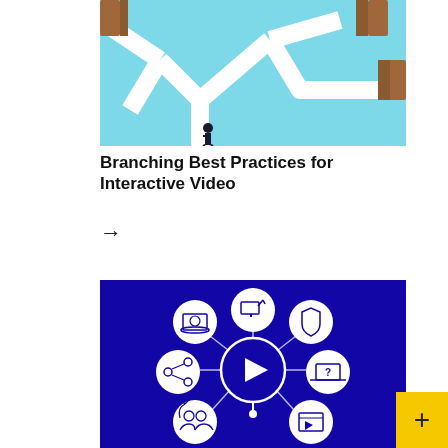[Figure (photo): Aerial view of a person standing at a branching pathway junction on a light blue background with wooden door obstacles at path ends]
Branching Best Practices for Interactive Video
→
[Figure (infographic): Dark blue background infographic showing a central video play button circle connected to surrounding circles with icons: interactive video screen, shield, laptop with question mark, video player, share/network icon, and people/collaboration icon]
+